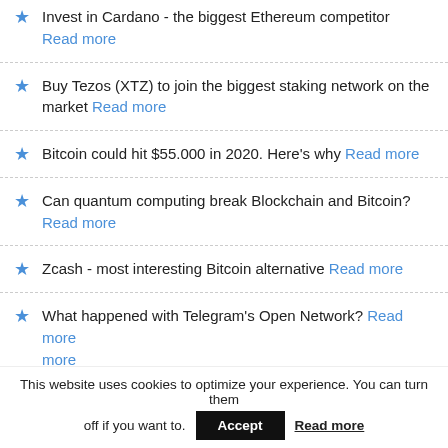Invest in Cardano - the biggest Ethereum competitor Read more
Buy Tezos (XTZ) to join the biggest staking network on the market Read more
Bitcoin could hit $55.000 in 2020. Here's why Read more
Can quantum computing break Blockchain and Bitcoin? Read more
Zcash - most interesting Bitcoin alternative Read more
What happened with Telegram's Open Network? Read more
This website uses cookies to optimize your experience. You can turn them off if you want to. Accept Read more